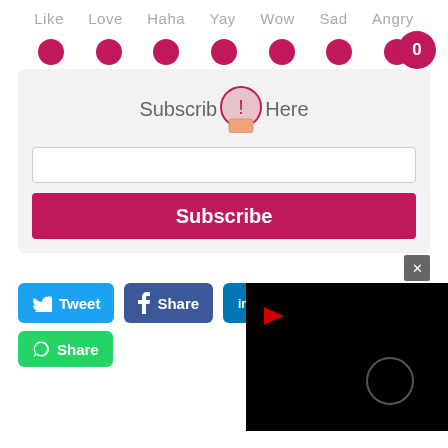Like   Love   Haha   Yay   Wow   Sad   Angry
[Figure (screenshot): Row of pink reaction emoji dots with a badge showing 0]
[Figure (screenshot): Subscribe Here modal with email input and Subscribe button, close X button]
[Figure (screenshot): Social share buttons: Tweet, Share (Facebook), LinkedIn (partial), Share (WhatsApp), and a dark video panel with play icon and circle loader]